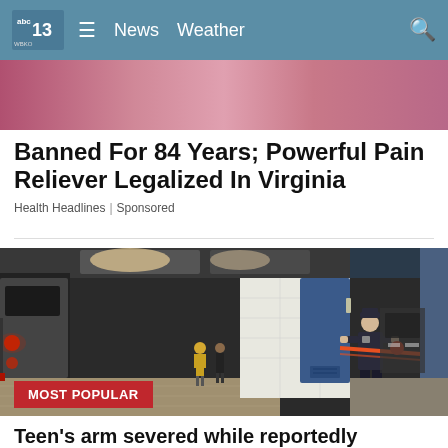abc13 WBKO | News | Weather
[Figure (photo): Partial top of an advertisement image with pink/red glittery background]
Banned For 84 Years; Powerful Pain Reliever Legalized In Virginia
Health Headlines | Sponsored
[Figure (photo): Police officer at a subway station platform stringing orange/red caution tape across a blue door. A subway train is visible on the left platform. Badge: MOST POPULAR]
Teen's arm severed while reportedly attempting to